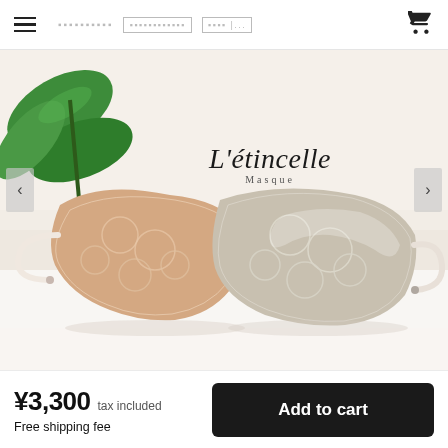☰  [nav links] [cart icon]
[Figure (photo): Two lace face masks displayed on a white surface. Left mask has a peach/beige lace overlay; right mask has a silver/grey lace overlay. A green plant leaf appears in the upper left. Brand name 'L'étincelle Masque' is overlaid on the upper right of the image. Carousel navigation arrows are visible on left and right edges.]
¥3,300  tax included
Free shipping fee
Add to cart